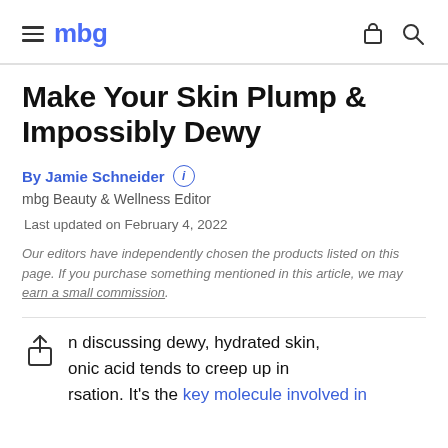mbg
Make Your Skin Plump & Impossibly Dewy
By Jamie Schneider ⓘ
mbg Beauty & Wellness Editor
Last updated on February 4, 2022
Our editors have independently chosen the products listed on this page. If you purchase something mentioned in this article, we may earn a small commission.
n discussing dewy, hydrated skin, onic acid tends to creep up in rsation. It's the key molecule involved in